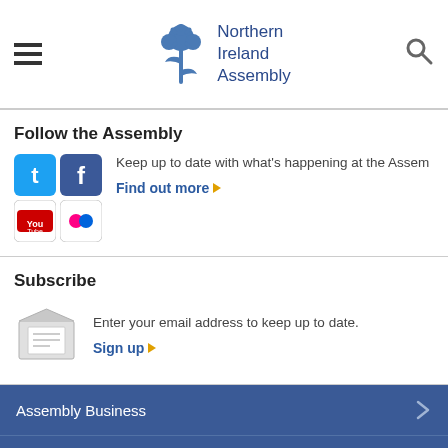Northern Ireland Assembly
Follow the Assembly
Keep up to date with what's happening at the Assem
Find out more
Subscribe
Enter your email address to keep up to date.
Sign up
Assembly Business
Your Mlas
News And Media